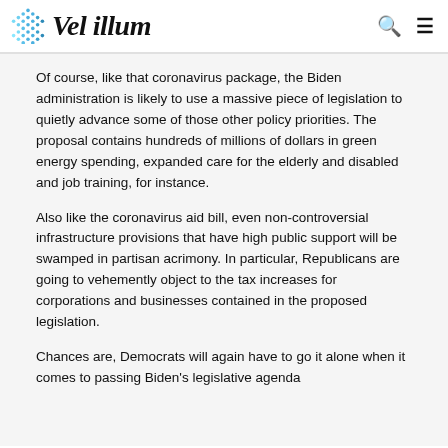Vel illum
Of course, like that coronavirus package, the Biden administration is likely to use a massive piece of legislation to quietly advance some of those other policy priorities. The proposal contains hundreds of millions of dollars in green energy spending, expanded care for the elderly and disabled and job training, for instance.
Also like the coronavirus aid bill, even non-controversial infrastructure provisions that have high public support will be swamped in partisan acrimony. In particular, Republicans are going to vehemently object to the tax increases for corporations and businesses contained in the proposed legislation.
Chances are, Democrats will again have to go it alone when it comes to passing Biden's legislative agenda